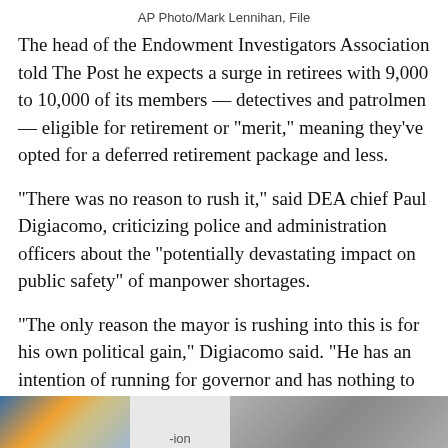AP Photo/Mark Lennihan, File
The head of the Endowment Investigators Association told The Post he expects a surge in retirees with 9,000 to 10,000 of its members — detectives and patrolmen — eligible for retirement or “merit,” meaning they’ve opted for a deferred retirement package and less.
“There was no reason to rush it,” said DEA chief Paul Digiacomo, criticizing police and administration officers about the “potentially devastating impact on public safety” of manpower shortages.
“The only reason the mayor is rushing into this is for his own political gain,” Digiacomo said. “He has an intention of running for governor and has nothing to hang his hat on at the moment except to say he has the most vaccinations in the country by forcing people to do so.”
[Figure (photo): Partial image strip at the bottom of the page showing fragments of photographs]